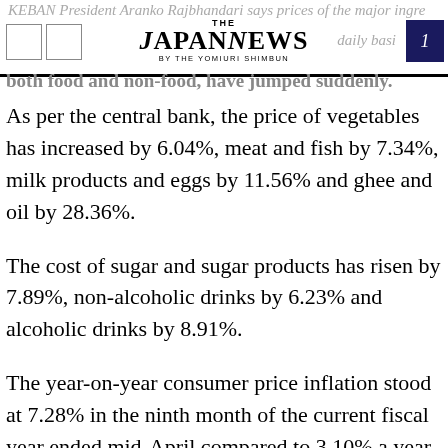THE JAPAN NEWS BY THE YOMIURI SHIMBUN
both food and non-food, have jumped suddenly.
As per the central bank, the price of vegetables has increased by 6.04%, meat and fish by 7.34%, milk products and eggs by 11.56% and ghee and oil by 28.36%.
The cost of sugar and sugar products has risen by 7.89%, non-alcoholic drinks by 6.23% and alcoholic drinks by 8.91%.
The year-on-year consumer price inflation stood at 7.28% in the ninth month of the current fiscal year ended mid-April compared to 3.10% a year ago, as per the central bank.